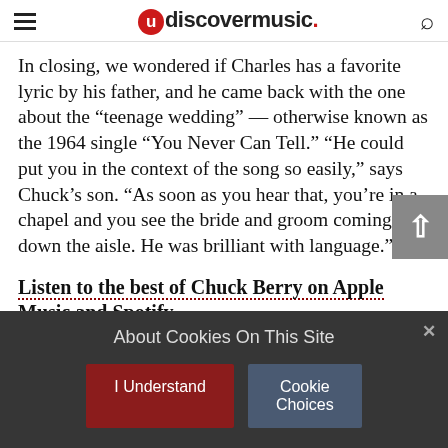udiscovermusic.
In closing, we wondered if Charles has a favorite lyric by his father, and he came back with the one about the “teenage wedding” — otherwise known as the 1964 single “You Never Can Tell.” “He could put you in the context of the song so easily,” says Chuck’s son. “As soon as you hear that, you’re in a chapel and you see the bride and groom coming down the aisle. He was brilliant with language.”
Listen to the best of Chuck Berry on Apple Music and Spotify.
About Cookies On This Site
I Understand
Cookie Choices